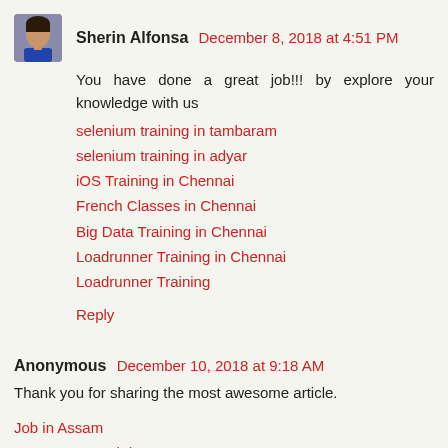[Figure (photo): Small avatar photo of Sherin Alfonsa, a woman with dark hair]
Sherin Alfonsa December 8, 2018 at 4:51 PM
You have done a great job!!! by explore your knowledge with us
selenium training in tambaram
selenium training in adyar
iOS Training in Chennai
French Classes in Chennai
Big Data Training in Chennai
Loadrunner Training in Chennai
Loadrunner Training
Reply
Anonymous December 10, 2018 at 9:18 AM
Thank you for sharing the most awesome article.
Job in Assam
Government Job in Assam
Reply